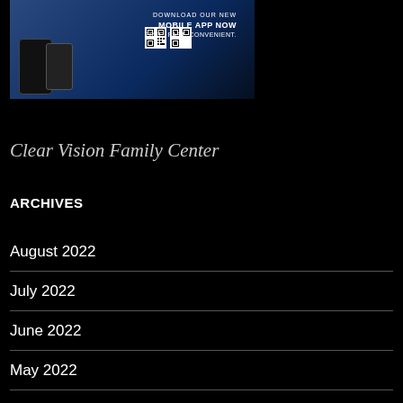[Figure (photo): Mobile app advertisement banner showing smartphones and QR codes with text 'DOWNLOAD OUR NEW MOBILE APP NOW FREE. FAST. CONVENIENT.']
Clear Vision Family Center
ARCHIVES
August 2022
July 2022
June 2022
May 2022
April 2022